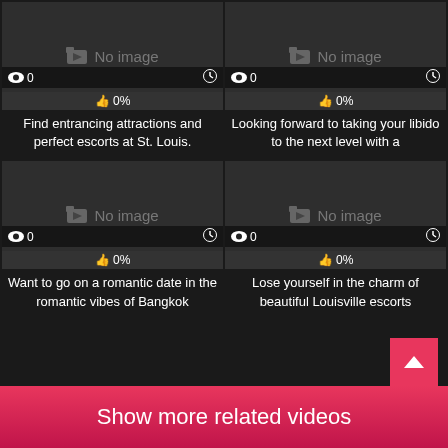[Figure (screenshot): Card with no image placeholder, 0 views, 0%, St. Louis escorts text]
Find entrancing attractions and perfect escorts at St. Louis.
[Figure (screenshot): Card with no image placeholder, 0 views, 0%, libido next level text]
Looking forward to taking your libido to the next level with a
[Figure (screenshot): Card with no image placeholder, 0 views, 0%, Bangkok romantic date text]
Want to go on a romantic date in the romantic vibes of Bangkok
[Figure (screenshot): Card with no image placeholder, 0 views, 0%, Louisville escorts text]
Lose yourself in the charm of beautiful Louisville escorts
Show more related videos